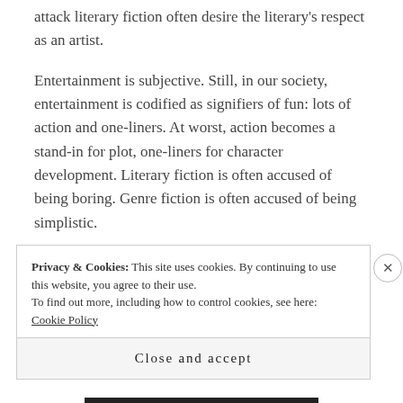attack literary fiction often desire the literary's respect as an artist.
Entertainment is subjective. Still, in our society, entertainment is codified as signifiers of fun: lots of action and one-liners. At worst, action becomes a stand-in for plot, one-liners for character development. Literary fiction is often accused of being boring. Genre fiction is often accused of being simplistic.
Privacy & Cookies: This site uses cookies. By continuing to use this website, you agree to their use.
To find out more, including how to control cookies, see here: Cookie Policy
Close and accept